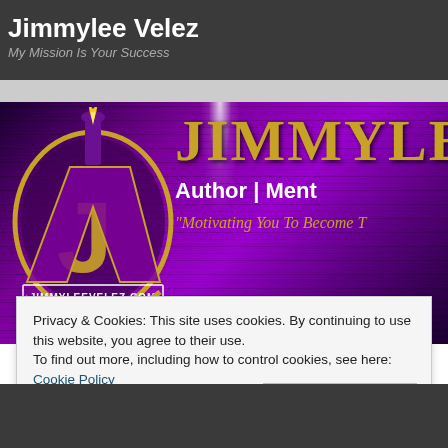Jimmylee Velez
My Mission Is Your Success
[Figure (screenshot): Banner with JV logo (gold and purple torch/chalice emblem with JIMMYLEEVELEZ.COM text) and partial text 'JIMMYLE' in gold serif font, 'Author | Ment' in white, '"Motivating You To Become T' in gold italic, on purple gradient background with stripe texture]
Privacy & Cookies: This site uses cookies. By continuing to use this website, you agree to their use.
To find out more, including how to control cookies, see here: Cookie Policy
Close and accept
building  dreamer